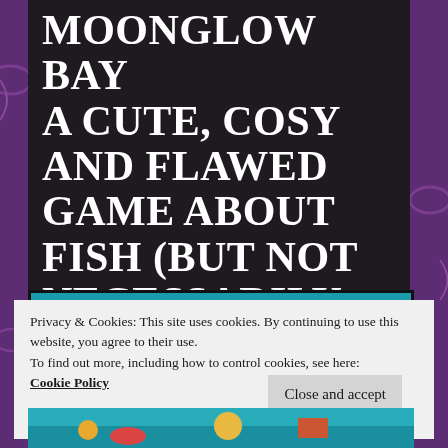MOONGLOW BAY A cute, cosy and flawed game about Fish (but not necessarily always chips)
[Figure (screenshot): Moonglow Bay game logo in retro style red lettering on teal background]
Privacy & Cookies: This site uses cookies. By continuing to use this website, you agree to their use.
To find out more, including how to control cookies, see here: Cookie Policy
Close and accept